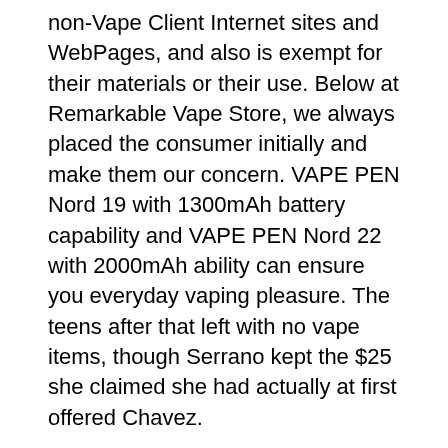non-Vape Client Internet sites and WebPages, and also is exempt for their materials or their use. Below at Remarkable Vape Store, we always placed the consumer initially and make them our concern. VAPE PEN Nord 19 with 1300mAh battery capability and VAPE PEN Nord 22 with 2000mAh ability can ensure you everyday vaping pleasure. The teens after that left with no vape items, though Serrano kept the $25 she claimed she had actually at first offered Chavez.
Interior view of a vape shop in Orange, California, Unites States. The Endura T18ll Vape Kit offers you the liberty to easily tune the warmth as well as airflow to create a directly perfect vape experience. Our Vape Shop aims to offer the very vape shop toronto downtown best items as well as remedies to both Pastimes as well as Vape Fanatic. By linking to a non-Vape Client Web site or page, Vape Client does not suggest or represent that it backs such